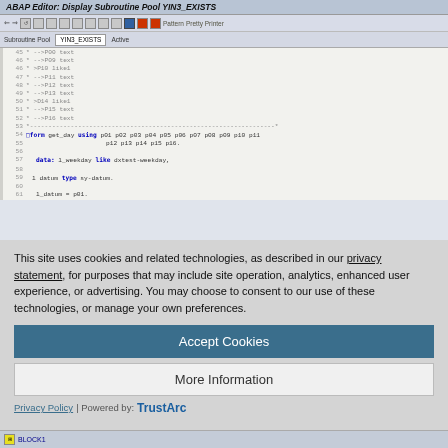[Figure (screenshot): ABAP Editor screenshot showing Display Subroutine Pool YIN3_EXISTS with code lines 45-61 visible, including form get_day declaration with parameters p01-p16, and data declarations]
This site uses cookies and related technologies, as described in our privacy statement, for purposes that may include site operation, analytics, enhanced user experience, or advertising. You may choose to consent to our use of these technologies, or manage your own preferences.
Accept Cookies
More Information
Privacy Policy | Powered by: TrustArc